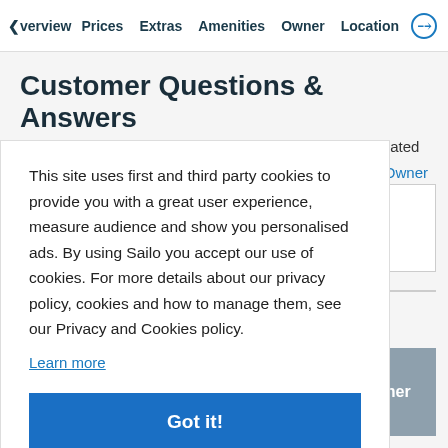Overview  Prices  Extras  Amenities  Owner  Location
Customer Questions & Answers
Ask general questions about this boat. For questions related to a
Owner
This site uses first and third party cookies to provide you with a great user experience, measure audience and show you personalised ads. By using Sailo you accept our use of cookies. For more details about our privacy policy, cookies and how to manage them, see our Privacy and Cookies policy.
Learn more
Got it!